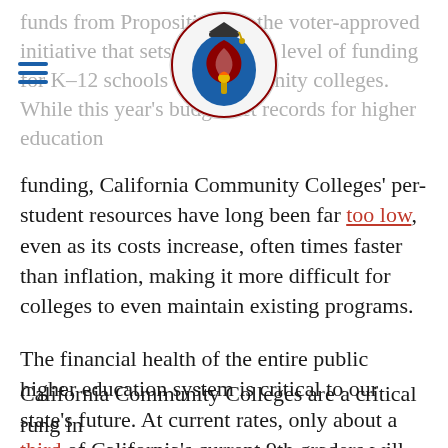[Figure (logo): California Coalition for Public Higher Education circular logo with a mortar board and torch icon]
funds from Proposition 98, the voter-approved initiative that sets a minimum level of funding for K–12 schools and community colleges. While this year's budget set records for higher education funding, California Community Colleges' per-student resources have long been far too low, even as its costs increase, often times faster than inflation, making it more difficult for colleges to even maintain existing programs.
The financial health of the entire public higher education system is critical to our state's future. At current rates, only about a third of California's current 9th graders will earn a bachelor's degree, and lower college completion among Latinx, Black and low-income Californians exacerbates the state's economic divide.
California Community Colleges are a critical rung in